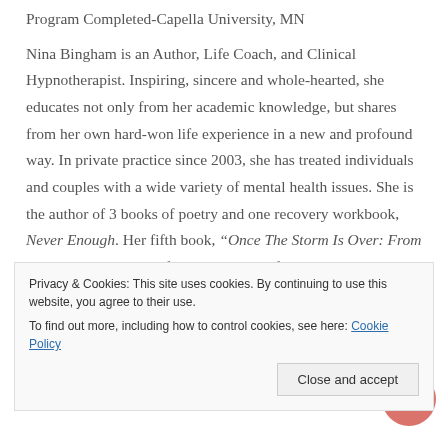Program Completed-Capella University, MN
Nina Bingham is an Author, Life Coach, and Clinical Hypnotherapist. Inspiring, sincere and whole-hearted, she educates not only from her academic knowledge, but shares from her own hard-won life experience in a new and profound way. In private practice since 2003, she has treated individuals and couples with a wide variety of mental health issues. She is the author of 3 books of poetry and one recovery workbook, Never Enough. Her fifth book, “Once The Storm Is Over: From Grieving to Healing After The Suicide of My Daughter,” is due out in
Privacy & Cookies: This site uses cookies. By continuing to use this website, you agree to their use.
To find out more, including how to control cookies, see here: Cookie Policy
Close and accept
Connect with Nina here:
createyourlife.nina@gmail.com